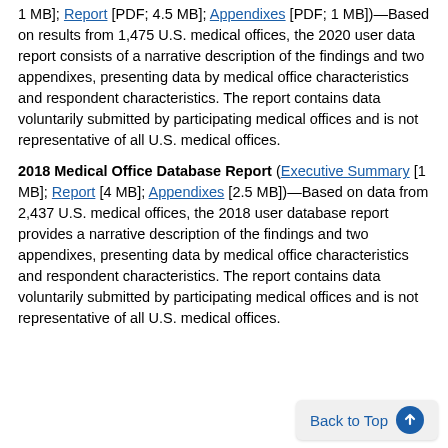1 MB]; Report [PDF; 4.5 MB]; Appendixes [PDF; 1 MB])—Based on results from 1,475 U.S. medical offices, the 2020 user data report consists of a narrative description of the findings and two appendixes, presenting data by medical office characteristics and respondent characteristics. The report contains data voluntarily submitted by participating medical offices and is not representative of all U.S. medical offices.
2018 Medical Office Database Report (Executive Summary [1 MB]; Report [4 MB]; Appendixes [2.5 MB])—Based on data from 2,437 U.S. medical offices, the 2018 user database report provides a narrative description of the findings and two appendixes, presenting data by medical office characteristics and respondent characteristics. The report contains data voluntarily submitted by participating medical offices and is not representative of all U.S. medical offices.